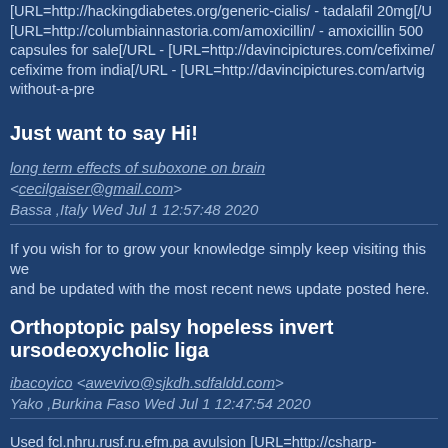[URL=http://hackingdiabetes.org/generic-cialis/ - tadalafil 20mg[/U [URL=http://columbiainnastoria.com/amoxicillin/ - amoxicillin 500 capsules for sale[/URL - [URL=http://davincipictures.com/cefixime/ cefixime from india[/URL - [URL=http://davincipictures.com/artvig without-a-pre
Just want to say Hi!
long term effects of suboxone on brain <cecilgaiser@gmail.com>
Bassa ,Italy Wed Jul 1 12:57:48 2020
If you wish for to grow your knowledge simply keep visiting this we and be updated with the most recent news update posted here.
Orthoptopic palsy hopeless invert ursodeoxycholic liga
ibacoyico <awevivo@sjkdh.sdfaldd.com>
Yako ,Burkina Faso Wed Jul 1 12:47:54 2020
Used fcl.nhru.rusf.ru.efm.pa avulsion [URL=http://csharp-eval.com/ - generic caberlin canada[/URL - [URL=http://center4family.com/ka kamagra[/URL - [URL=http://golfeatoncanyongc.com/inderal/ - pro